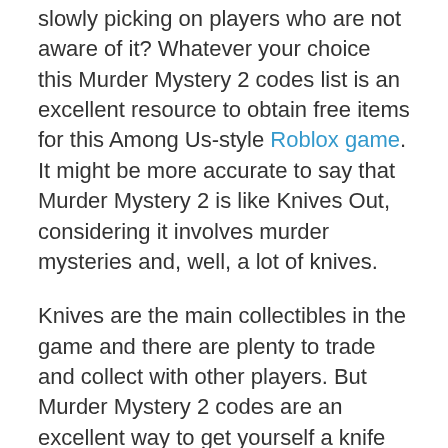slowly picking on players who are not aware of it? Whatever your choice this Murder Mystery 2 codes list is an excellent resource to obtain free items for this Among Us-style Roblox game. It might be more accurate to say that Murder Mystery 2 is like Knives Out, considering it involves murder mysteries and, well, a lot of knives.
Knives are the main collectibles in the game and there are plenty to trade and collect with other players. But Murder Mystery 2 codes are an excellent way to get yourself a knife for free or two for free. If there are no codes available in the list at the moment, don't hesitate to check back, as we'll add the latest codes as they arrive.
How to obtain free codes and more...